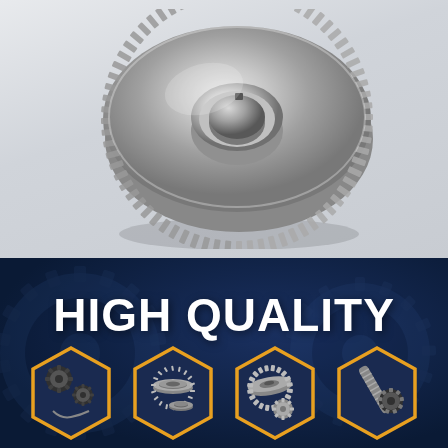[Figure (photo): Large silver/chrome spur gear with many fine teeth, shown at an angle on a light gray background. The gear has a central hub with a keyway slot.]
HIGH QUALITY
[Figure (illustration): Row of four hexagonal badge icons on dark navy background, each containing photos of different types of gears: sprocket gears, disc/washer gears, bevel/face gears, and a worm gear with spur gear combination.]